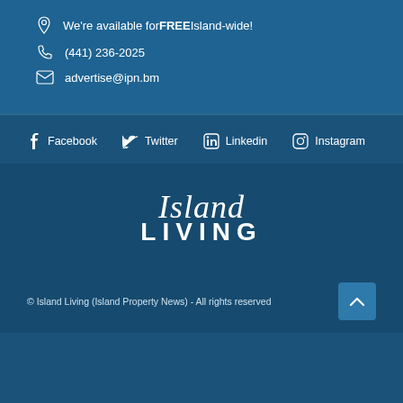We're available for FREE Island-wide!
(441) 236-2025
advertise@ipn.bm
Facebook  Twitter  Linkedin  Instagram
[Figure (logo): Island Living logo with script 'Island' above bold 'LIVING' text in white]
© Island Living (Island Property News) - All rights reserved